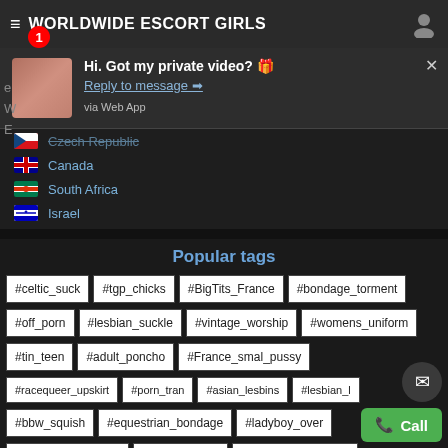WORLDWIDE ESCORT GIRLS
Hi. Got my private video? 🎁
Reply to message ➡
via Web App
Czech Republic
Canada
South Africa
Israel
Popular tags
#celtic_suck
#tgp_chicks
#BigTits_France
#bondage_torment
#off_porn
#lesbian_suckle
#vintage_worship
#womens_uniform
#tin_teen
#adult_poncho
#France_smal_pussy
#racequeer_upskirt
#porn_tran
#asian_lesbins
#lesbian_l
#bbw_squish
#equestrian_bondage
#ladyboy_over
#flight_fuck_France
#fuck_workout
#asian_screensaver